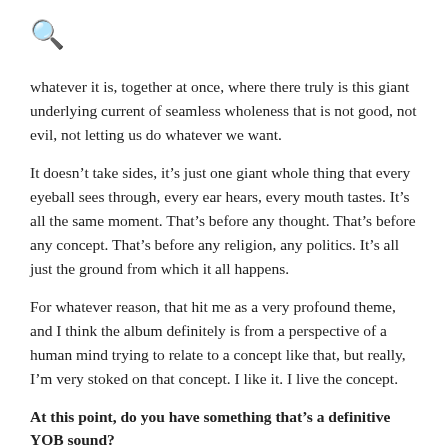🔍
whatever it is, together at once, where there truly is this giant underlying current of seamless wholeness that is not good, not evil, not letting us do whatever we want.
It doesn't take sides, it's just one giant whole thing that every eyeball sees through, every ear hears, every mouth tastes. It's all the same moment. That's before any thought. That's before any concept. That's before any religion, any politics. It's all just the ground from which it all happens.
For whatever reason, that hit me as a very profound theme, and I think the album definitely is from a perspective of a human mind trying to relate to a concept like that, but really, I'm very stoked on that concept. I like it. I live the concept.
At this point, do you have something that's a definitive YOB sound?
We've had a certain sound that's been based on our own